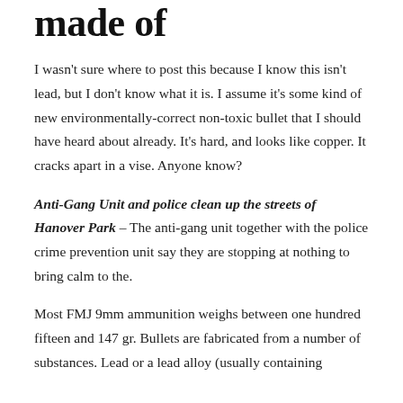made of
I wasn't sure where to post this because I know this isn't lead, but I don't know what it is. I assume it's some kind of new environmentally-correct non-toxic bullet that I should have heard about already. It's hard, and looks like copper. It cracks apart in a vise. Anyone know?
Anti-Gang Unit and police clean up the streets of Hanover Park – The anti-gang unit together with the police crime prevention unit say they are stopping at nothing to bring calm to the.
Most FMJ 9mm ammunition weighs between one hundred fifteen and 147 gr. Bullets are fabricated from a number of substances. Lead or a lead alloy (usually containing